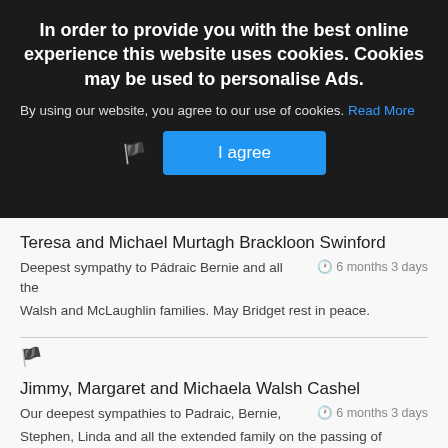In order to provide you with the best online experience this website uses cookies. Cookies may be used to personalise Ads.
By using our website, you agree to our use of cookies. Read More
I agree
Teresa and Michael Murtagh Brackloon Swinford
Deepest sympathy to Pádraic Bernie and all the Walsh and McLaughlin families. May Bridget rest in peace.
6 months 3 days
Jimmy, Margaret and Michaela Walsh Cashel
Our deepest sympathies to Padraic, Bernie, Stephen, Linda and all the extended family on the passing of
6 months 3 days